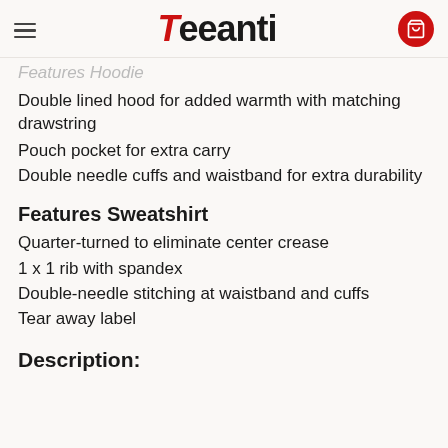Teeanti
Features Hoodie
Double lined hood for added warmth with matching drawstring
Pouch pocket for extra carry
Double needle cuffs and waistband for extra durability
Features Sweatshirt
Quarter-turned to eliminate center crease
1 x 1 rib with spandex
Double-needle stitching at waistband and cuffs
Tear away label
Description: